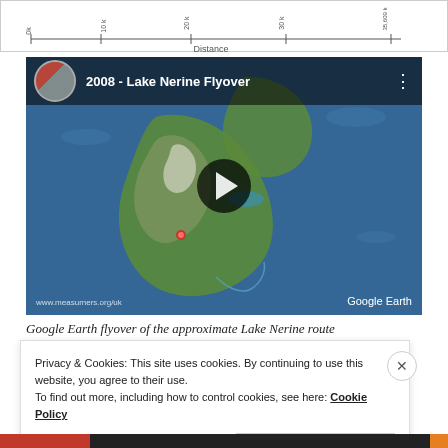[Figure (continuous-plot): Partial chart strip at top showing distance axis, partially cropped]
[Figure (screenshot): YouTube video thumbnail: '2008 - Lake Nerine Flyover' showing Google Earth flyover of New Zealand with play button overlay and Google Earth watermark]
Google Earth flyover of the approximate Lake Nerine route
Privacy & Cookies: This site uses cookies. By continuing to use this website, you agree to their use.
To find out more, including how to control cookies, see here: Cookie Policy
Close and accept